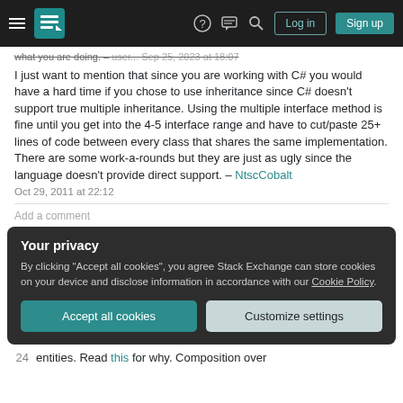Stack Exchange navigation bar with hamburger menu, logo, help, chat, search icons, Log in and Sign up buttons
what you are doing. – user... Sep 25, 2023 at 18:07
I just want to mention that since you are working with C# you would have a hard time if you chose to use inheritance since C# doesn't support true multiple inheritance. Using the multiple interface method is fine until you get into the 4-5 interface range and have to cut/paste 25+ lines of code between every class that shares the same implementation. There are some work-a-rounds but they are just as ugly since the language doesn't provide direct support. – NtscCobalt Oct 29, 2011 at 22:12
Add a comment
Your privacy
By clicking "Accept all cookies", you agree Stack Exchange can store cookies on your device and disclose information in accordance with our Cookie Policy.
Accept all cookies
Customize settings
24 entities. Read this for why. Composition over